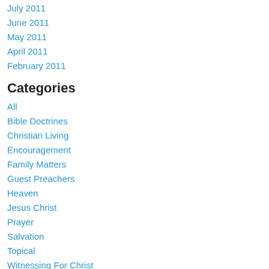July 2011
June 2011
May 2011
April 2011
February 2011
Categories
All
Bible Doctrines
Christian Living
Encouragement
Family Matters
Guest Preachers
Heaven
Jesus Christ
Prayer
Salvation
Topical
Witnessing For Christ
RSS Feed